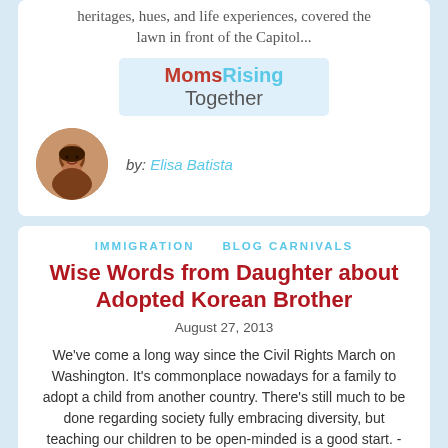heritages, hues, and life experiences, covered the lawn in front of the Capitol...
[Figure (logo): MomsRising Together logo with red MomsRising text on light blue background and grey Together text]
by: Elisa Batista
IMMIGRATION    BLOG CARNIVALS
Wise Words from Daughter about Adopted Korean Brother
August 27, 2013
We've come a long way since the Civil Rights March on Washington. It's commonplace nowadays for a family to adopt a child from another country. There's still much to be done regarding society fully embracing diversity, but teaching our children to be open-minded is a good start. -Maria Adcock,...